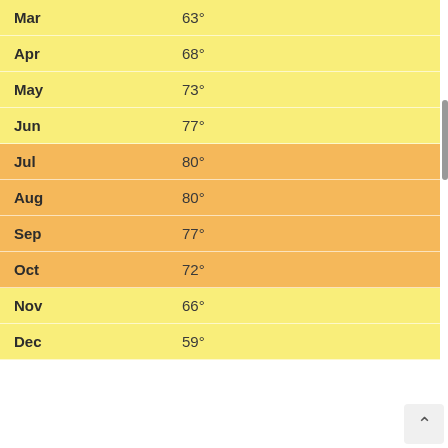| Month | Temperature |
| --- | --- |
| Mar | 63° |
| Apr | 68° |
| May | 73° |
| Jun | 77° |
| Jul | 80° |
| Aug | 80° |
| Sep | 77° |
| Oct | 72° |
| Nov | 66° |
| Dec | 59° |